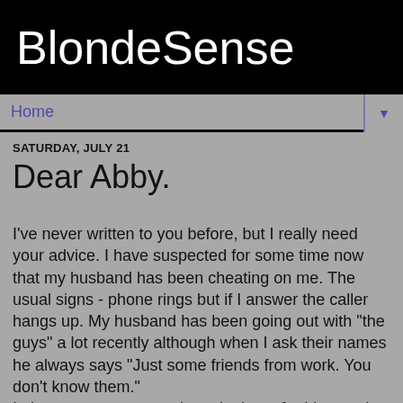BlondeSense
Home
SATURDAY, JULY 21
Dear Abby.
I've never written to you before, but I really need your advice. I have suspected for some time now that my husband has been cheating on me. The usual signs - phone rings but if I answer the caller hangs up. My husband has been going out with "the guys" a lot recently although when I ask their names he always says "Just some friends from work. You don't know them."
I always try to stay awake to look out for him coming home, but I usually fall asleep anyway. I have never approached the